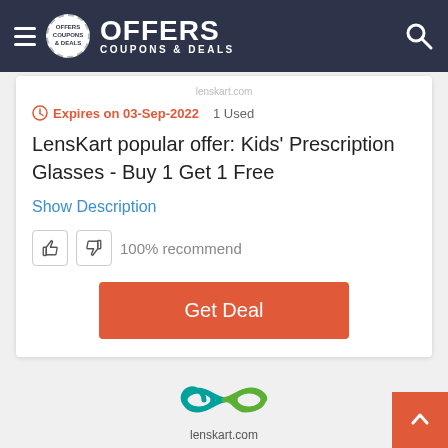OFFERS COUPONS & DEALS
lenskart.com
Expires on 03-Sep-2022   1 Used
LensKart popular offer: Kids' Prescription Glasses - Buy 1 Get 1 Free
Show Description
100% recommend
Get Deal
[Figure (logo): Lenskart.com logo with infinity symbol in green and teal, text lenskart.com below]